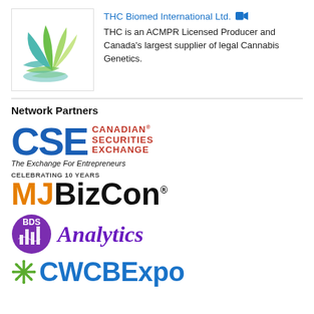[Figure (logo): THC Biomed International logo - green and teal leaf/plant design]
THC Biomed International Ltd.
THC is an ACMPR Licensed Producer and Canada's largest supplier of legal Cannabis Genetics.
Network Partners
[Figure (logo): Canadian Securities Exchange (CSE) logo - blue CSE letters with red text CANADIAN SECURITIES EXCHANGE and tagline The Exchange For Entrepreneurs]
[Figure (logo): MJBizCon logo - orange MJ and black BizCon text with CELEBRATING 10 YEARS above]
[Figure (logo): BDS Analytics logo - purple circle with BDS and Analytics in purple italic]
[Figure (logo): CWCBExpo logo - blue text with green asterisk/snowflake icon]